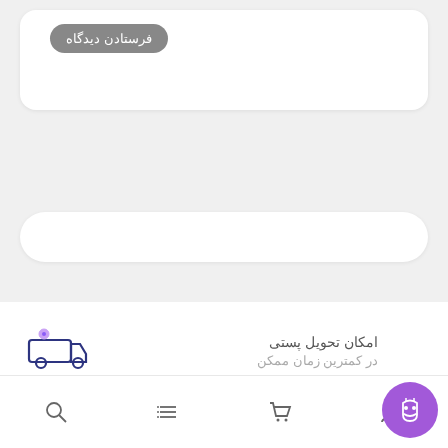[Figure (screenshot): Top white card with send button labeled فرستادن دیدگاه (Send Review) in gray]
فرستادن دیدگاه
[Figure (screenshot): White rounded search bar]
امکان تحویل پستی
در کمترین زمان ممکن
[Figure (illustration): Delivery truck icon with purple location dot]
پشتیبانی ۲۴ ساعته
پشتیبانی هفت روز هفته
[Figure (illustration): 24-hour phone support icon with teal arc]
[Figure (illustration): Purple chatbot button at bottom right]
Bottom navigation bar with user, cart, list, and search icons